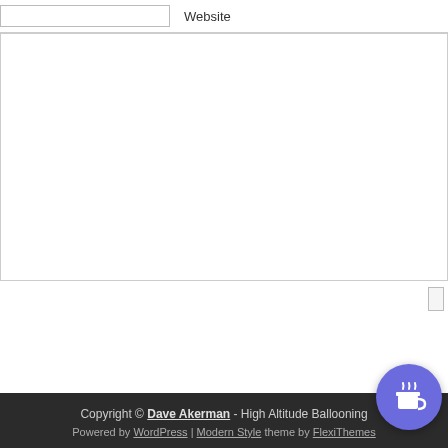Website
Comment textarea
Submit button
Copyright © Dave Akerman - High Altitude Ballooning
Powered by WordPress | Modern Style theme by FlexiThemes